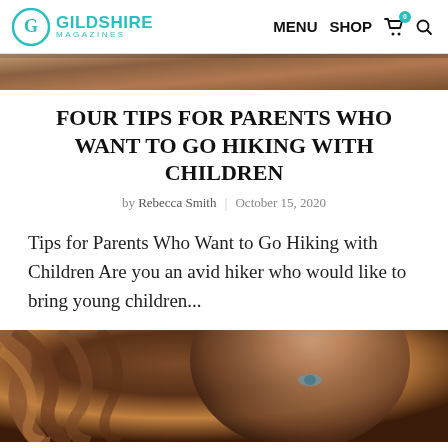GILDSHIRE MAGAZINES | MENU SHOP 0
[Figure (photo): Top strip: outdoor natural texture photo, brown/earth tones]
FOUR TIPS FOR PARENTS WHO WANT TO GO HIKING WITH CHILDREN
by Rebecca Smith | October 15, 2020
Tips for Parents Who Want to Go Hiking with Children Are you an avid hiker who would like to bring young children...
[Figure (photo): Bottom portion: close-up portrait of a woman with curly brown/auburn hair and blue-grey eyes]